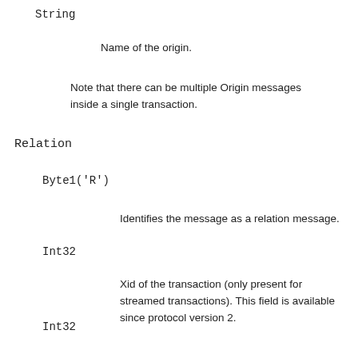String
Name of the origin.
Note that there can be multiple Origin messages inside a single transaction.
Relation
Byte1('R')
Identifies the message as a relation message.
Int32
Xid of the transaction (only present for streamed transactions). This field is available since protocol version 2.
Int32
ID of the relation.